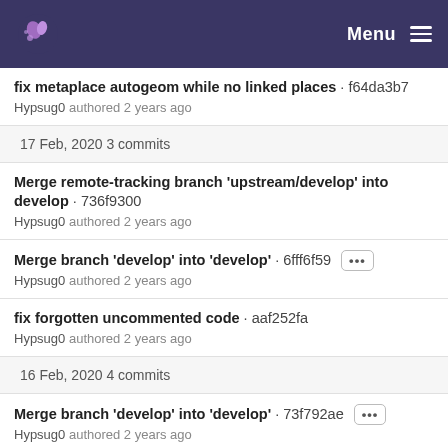Menu
fix metaplace autogeom while no linked places · f64da3b7
Hypsug0 authored 2 years ago
17 Feb, 2020 3 commits
Merge remote-tracking branch 'upstream/develop' into develop · 736f9300
Hypsug0 authored 2 years ago
Merge branch 'develop' into 'develop' · 6fff6f59 ···
Hypsug0 authored 2 years ago
fix forgotten uncommented code · aaf252fa
Hypsug0 authored 2 years ago
16 Feb, 2020 4 commits
Merge branch 'develop' into 'develop' · 73f792ae ···
Hypsug0 authored 2 years ago